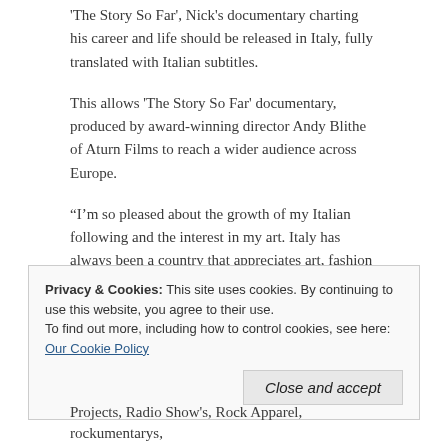'The Story So Far', Nick's documentary charting his career and life should be released in Italy, fully translated with Italian subtitles.
This allows 'The Story So Far' documentary, produced by award-winning director Andy Blithe of Aturn Films to reach a wider audience across Europe.
“I’m so pleased about the growth of my Italian following and the interest in my art. Italy has always been a country that appreciates art, fashion and style”. (Nick elliott)
Privacy & Cookies: This site uses cookies. By continuing to use this website, you agree to their use.
To find out more, including how to control cookies, see here: Our Cookie Policy
Close and accept
Projects, Radio Show's, Rock Apparel, rockumentarys,